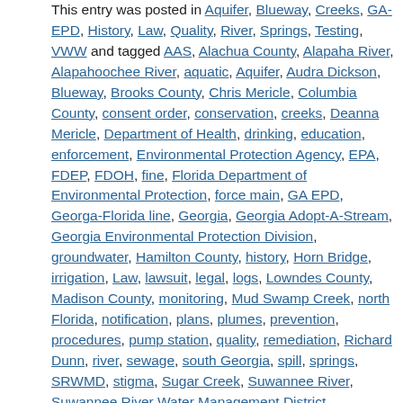This entry was posted in Aquifer, Blueway, Creeks, GA-EPD, History, Law, Quality, River, Springs, Testing, VWW and tagged AAS, Alachua County, Alapaha River, Alapahoochee River, aquatic, Aquifer, Audra Dickson, Blueway, Brooks County, Chris Mericle, Columbia County, consent order, conservation, creeks, Deanna Mericle, Department of Health, drinking, education, enforcement, Environmental Protection Agency, EPA, FDEP, FDOH, fine, Florida Department of Environmental Protection, force main, GA EPD, Georga-Florida line, Georgia, Georgia Adopt-A-Stream, Georgia Environmental Protection Division, groundwater, Hamilton County, history, Horn Bridge, irrigation, Law, lawsuit, legal, logs, Lowndes County, Madison County, monitoring, Mud Swamp Creek, north Florida, notification, plans, plumes, prevention, procedures, pump station, quality, remediation, Richard Dunn, river, sewage, south Georgia, spill, springs, SRWMD, stigma, Sugar Creek, Suwannee River, Suwannee River Water Management District, Suwannee Riverkeeper, Task Force, testing, underground, updates, Valdosta, Valdosta Daily Times, Valdosta Utilities, VWW, water quality, watershed, wells, wildlife, Withlacoochee River, WWALS, WWALS